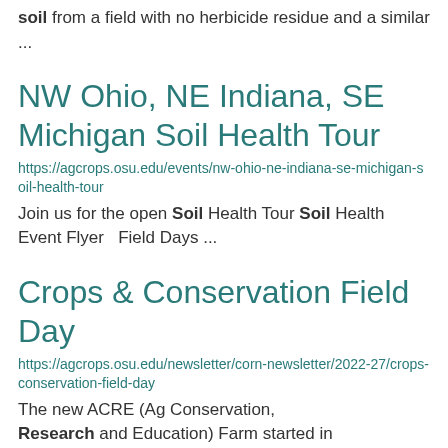soil from a field with no herbicide residue and a similar ...
NW Ohio, NE Indiana, SE Michigan Soil Health Tour
https://agcrops.osu.edu/events/nw-ohio-ne-indiana-se-michigan-soil-health-tour
Join us for the open Soil Health Tour Soil Health Event Flyer  Field Days ...
Crops & Conservation Field Day
https://agcrops.osu.edu/newsletter/corn-newsletter/2022-27/crops-conservation-field-day
The new ACRE (Ag Conservation, Research and Education) Farm started in